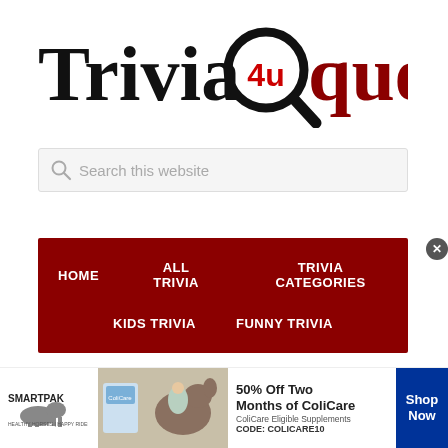[Figure (logo): Trivia4u Questions logo with magnifying glass icon containing '4u' in red]
Search this website
HOME   ALL TRIVIA   TRIVIA CATEGORIES   KIDS TRIVIA   FUNNY TRIVIA
[Figure (infographic): SmartPak advertisement: 50% Off Two Months of ColiCare, ColiCare Eligible Supplements, CODE: COLICARE10, Shop Now button]